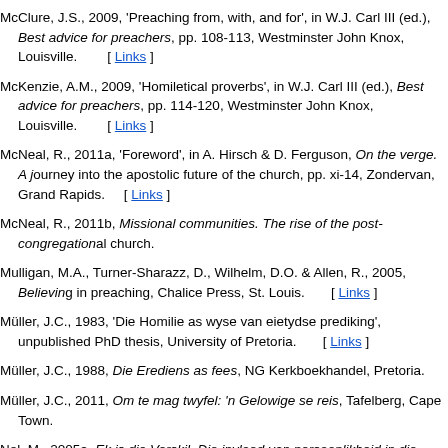McClure, J.S., 2009, 'Preaching from, with, and for', in W.J. Carl III (ed.), Best advice for preachers, pp. 108-113, Westminster John Knox, Louisville. [ Links ]
McKenzie, A.M., 2009, 'Homiletical proverbs', in W.J. Carl III (ed.), Best advice for preachers, pp. 114-120, Westminster John Knox, Louisville. [ Links ]
McNeal, R., 2011a, 'Foreword', in A. Hirsch & D. Ferguson, On the verge. A journey into the apostolic future of the church, pp. xi-14, Zondervan, Grand Rapids. [ Links ]
McNeal, R., 2011b, Missional communities. The rise of the post-congregational church.
Mulligan, M.A., Turner-Sharazz, D., Wilhelm, D.O. & Allen, R., 2005, Believing in preaching, Chalice Press, St. Louis. [ Links ]
Müller, J.C., 1983, 'Die Homilie as wyse van eietydse prediking', unpublished PhD thesis, University of Pretoria. [ Links ]
Müller, J.C., 1988, Die Erediens as fees, NG Kerkboekhandel, Pretoria.
Müller, J.C., 2011, Om te mag twyfel: 'n Gelowige se reis, Tafelberg, Cape Town.
Nel, M., 2005a, Ek is die Verskil. Die invloed van persoonlikheid in die prediking. PMCid:PMC546013 [ Links ]
Nel, M., 2005b, Who are we? Understanding and finding identity in the local church. PMCid:PMC546013 [ Links ]
Nel, M., 2009, 'Congregational analysis: A theological and ministerial approach', HTS Teologiese Studies/Theological Studies 65(1), Art. #303, 17 pages. http://dx.doi.org/10.4102/hts.v65i1.303 [ Links ]
Nel, M., 2011, 'Missionale integriteit en kontekstuele relevansie', HTS Teologiese Studies/Theological Studies